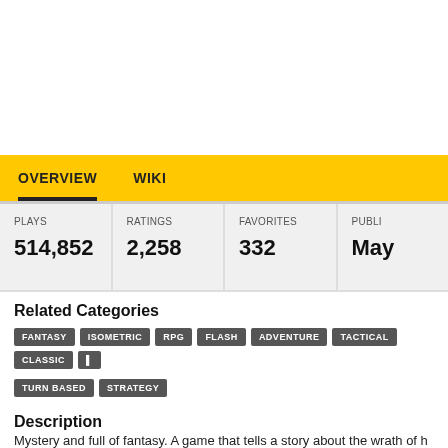OVERVIEW   WIKI
| PLAYS | RATINGS | FAVORITES | PUBLI... |
| --- | --- | --- | --- |
| 514,852 | 2,258 | 332 | May... |
Related Categories
FANTASY  ISOMETRIC  RPG  FLASH  ADVENTURE  TACTICAL  CLASSIC  TURN BASED  STRATEGY
Description
Mystery and full of fantasy. A game that tells a story about the wrath of h... who desires world domination and the abolition of all human, birdmen, a... wizard race. Darkness will cloud the world forever.. unless all races unit... and prevent it before it's too late.